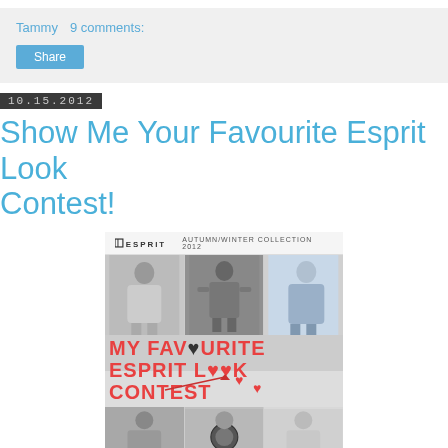Tammy   9 comments:
Share
10.15.2012
Show Me Your Favourite Esprit Look Contest!
[Figure (photo): Esprit Autumn/Winter Collection 2012 promotional image showing models with text 'MY FAVOURITE ESPRIT LOOK CONTEST' overlaid in red with heart symbols]